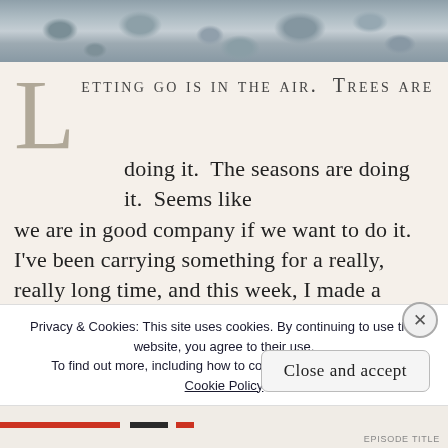[Figure (photo): Photograph of pebbles/rocks, cropped to a horizontal strip at top of page]
Letting go is in the air. Trees are doing it. The seasons are doing it. Seems like we are in good company if we want to do it. I've been carrying something for a really, really long time, and this week, I made a decision that I am ready to let it go. This week, was the mother of all weeks. thanks to a Full Moon on 11/11 in Mercury R[etrograde] f[...]
Privacy & Cookies: This site uses cookies. By continuing to use this website, you agree to their use.
To find out more, including how to control cookies, see here:
Cookie Policy
Close and accept